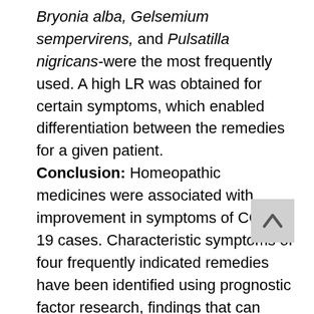Bryonia alba, Gelsemium sempervirens, and Pulsatilla nigricans- were the most frequently used. A high LR was obtained for certain symptoms, which enabled differentiation between the remedies for a given patient. Conclusion: Homeopathic medicines were associated with improvement in symptoms of COVID-19 cases. Characteristic symptoms of four frequently indicated remedies have been identified using prognostic factor research, findings that can contribute to accurate homeopathic prescribing during future controlled research in COVID-19.

Faculty of Homeopathy. This article is